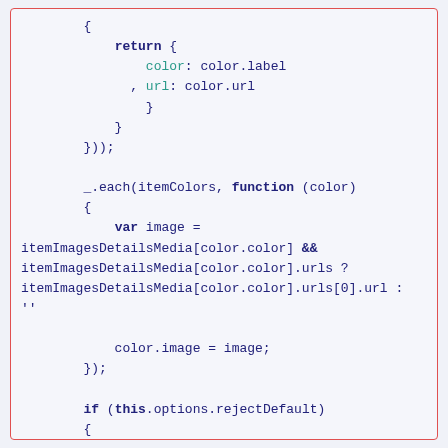[Figure (screenshot): Code snippet in JavaScript showing a return statement with color and url properties, followed by an _.each loop with itemColors and a var image assignment using itemImagesDetailsMedia, and an if statement checking this.options.rejectDefault]